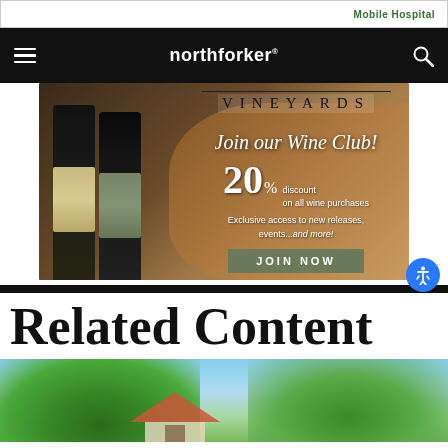[Figure (other): Top advertisement bar with 'Mobile Hospital' text on right side]
northforker
[Figure (other): Vineyard wine club advertisement showing two wine bottles, wooden barrels, and text: VINEYARDS, Join our Wine Club!, 20% discount on all wine purchases, Exclusive access to new releases, events...and more!, JOIN NOW]
Related Content
[Figure (photo): Photo of a house with large green trees and blue sky, viewed from below]